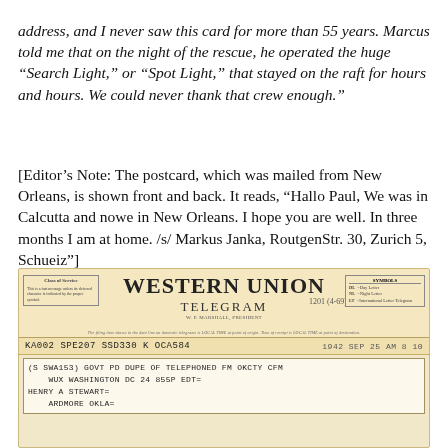address, and I never saw this card for more than 55 years. Marcus told me that on the night of the rescue, he operated the huge "Search Light," or "Spot Light," that stayed on the raft for hours and hours. We could never thank that crew enough."
[Editor's Note: The postcard, which was mailed from New Orleans, is shown front and back. It reads, "Hallo Paul, We was in Calcutta and nowe in New Orleans. I hope you are well. In three months I am at home. /s/ Markus Janka, RoutgenStr. 30, Zurich 5, Schueiz"]
[Figure (photo): A Western Union Telegram image. Header reads 'WESTERN UNION TELEGRAM, W.P. MARSHALL, PRESIDENT' with CLASS OF SERVICE box on left and SYMBOLS box on right. Body shows: code line 'KA002 SPE207 SSD330 K OCA584', date stamp '1942 SEP 25 AM 8 10', message box with text '(S SWA153) GOVT PD DUPE OF TELEPHONED FM OKCTY CFM WUX WASHINGTON DC 24 855P EDT= HENRY A STEWART= ARDMORE OKLA=']